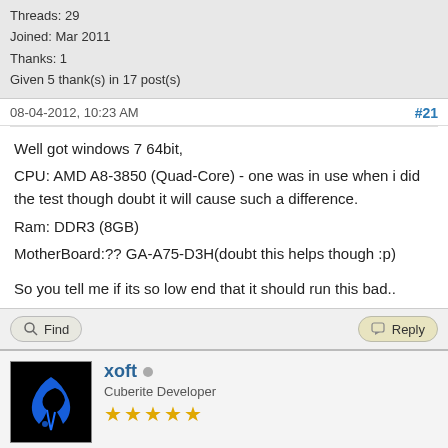Threads: 29
Joined: Mar 2011
Thanks: 1
Given 5 thank(s) in 17 post(s)
08-04-2012, 10:23 AM  #21
Well got windows 7 64bit,
CPU: AMD A8-3850 (Quad-Core) - one was in use when i did the test though doubt it will cause such a difference.
Ram: DDR3 (8GB)
MotherBoard:?? GA-A75-D3H(doubt this helps though :p)

So you tell me if its so low end that it should run this bad..
xoft  Cuberite Developer
Posts: 6,471
Threads: 175
Joined: Jan 2012
Thanks: 35